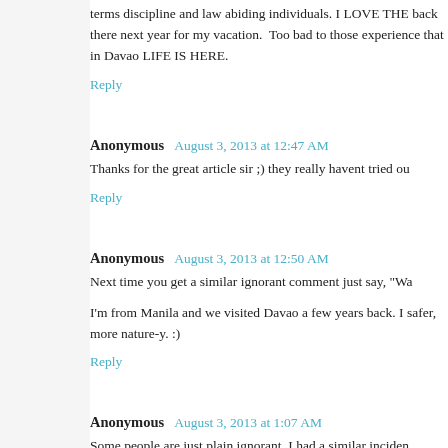terms discipline and law abiding individuals. I LOVE THE back there next year for my vacation. Too bad to those experience that in Davao LIFE IS HERE.
Reply
Anonymous   August 3, 2013 at 12:47 AM
Thanks for the great article sir ;) they really havent tried ou
Reply
Anonymous   August 3, 2013 at 12:50 AM
Next time you get a similar ignorant comment just say, "Wa
I'm from Manila and we visited Davao a few years back. I safer, more nature-y. :)
Reply
Anonymous   August 3, 2013 at 1:07 AM
Some people are just plain ignorant. I had a similar inciden